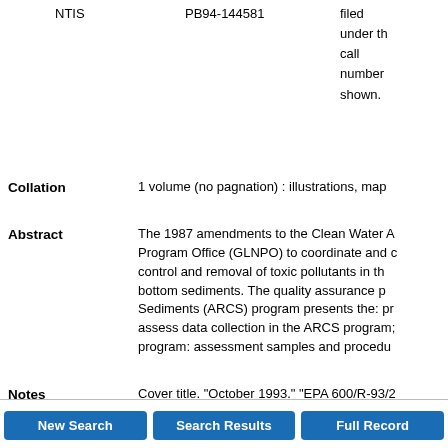|  | NTIS | PB94-144581 | filed under the call number shown. |
| --- | --- | --- | --- |
Collation	1 volume (no pagnation) : illustrations, map
Abstract	The 1987 amendments to the Clean Water A... Program Office (GLNPO) to coordinate and c... control and removal of toxic pollutants in th... bottom sediments. The quality assurance p... Sediments (ARCS) program presents the: pr... assess data collection in the ARCS program; program: assessment samples and procedu...
Notes	Cover title. "October 1993." "EPA 600/R-93/2...
New Search | Search Results | Full Record